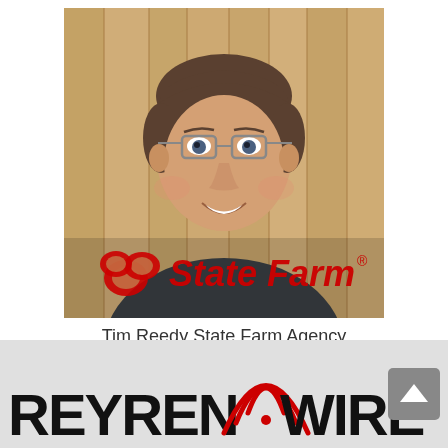[Figure (photo): Headshot of a middle-aged man with glasses and short brown hair, wearing a dark gray jacket, smiling. A State Farm logo overlay is visible at the bottom of the photo. Background is wooden planks.]
Tim Reedy State Farm Agency
[Figure (logo): Partial view of a ReyrenWire logo on a light gray background, with a wifi symbol incorporated. A gray scroll-up button is visible in the bottom right.]